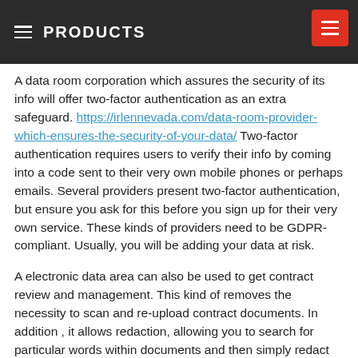≡ PRODUCTS
A data room corporation which assures the security of its info will offer two-factor authentication as an extra safeguard. https://irlennevada.com/data-room-provider-which-ensures-the-security-of-your-data/ Two-factor authentication requires users to verify their info by coming into a code sent to their very own mobile phones or perhaps emails. Several providers present two-factor authentication, but ensure you ask for this before you sign up for their very own service. These kinds of providers need to be GDPR-compliant. Usually, you will be adding your data at risk.
A electronic data area can also be used to get contract review and management. This kind of removes the necessity to scan and re-upload contract documents. In addition , it allows redaction, allowing you to search for particular words within documents and then simply redact these people. In addition to redaction, you can